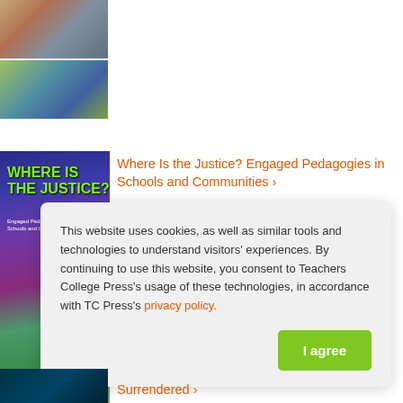[Figure (photo): Two rows of thumbnail photos of people/students at top left]
[Figure (photo): Book cover: 'Where Is The Justice? Engaged Pedagogies in Schools and Communities' with illustrated diverse youth on purple/green background]
Where Is the Justice? Engaged Pedagogies in Schools and Communities ›
This website uses cookies, as well as similar tools and technologies to understand visitors' experiences. By continuing to use this website, you consent to Teachers College Press's usage of these technologies, in accordance with TC Press's privacy policy.
I agree
[Figure (photo): Small thumbnail of another book at bottom left]
Surrendered ›